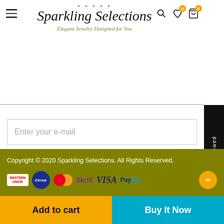[Figure (logo): Sparkling Selections jewelry store logo with ornamental design and tagline 'Elegant Jewelry Designed for You']
Enter your e-mail
Subscribe
Copyright © 2020 Sparkling Selections. All Rights Reserved.
[Figure (other): Payment method logos: Western Union, Cirrus, MasterCard, Skrill, VISA, PayPal]
Add to cart
Buy It Now